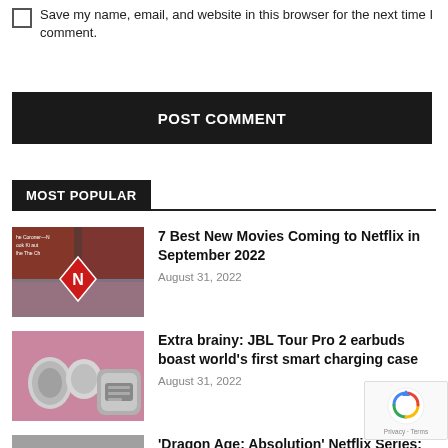Save my name, email, and website in this browser for the next time I comment.
POST COMMENT
MOST POPULAR
7 Best New Movies Coming to Netflix in September 2022
August 31, 2022
[Figure (photo): Netflix thumbnail with movie collage]
Extra brainy: JBL Tour Pro 2 earbuds boast world's first smart charging case
August 31, 2022
[Figure (photo): JBL Tour Pro 2 earbuds on pink background]
'Dragon Age: Absolution' Netflix Series: